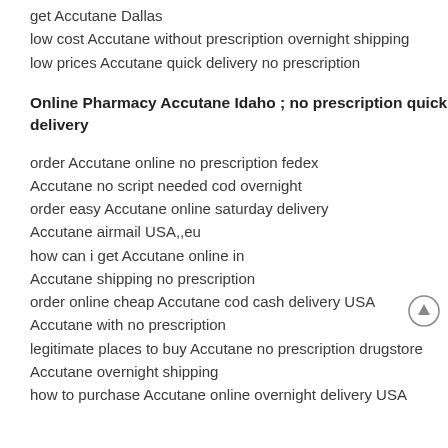get Accutane Dallas
low cost Accutane without prescription overnight shipping
low prices Accutane quick delivery no prescription
Online Pharmacy Accutane Idaho ; no prescription quick delivery
order Accutane online no prescription fedex
Accutane no script needed cod overnight
order easy Accutane online saturday delivery
Accutane airmail USA,,eu
how can i get Accutane online in
Accutane shipping no prescription
order online cheap Accutane cod cash delivery USA
Accutane with no prescription
legitimate places to buy Accutane no prescription drugstore
Accutane overnight shipping
how to purchase Accutane online overnight delivery USA